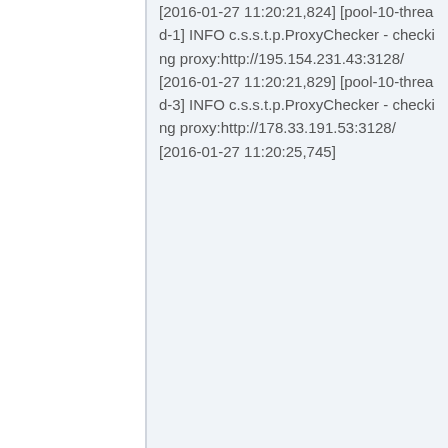[2016-01-27 11:20:21,824] [pool-10-thread-1] INFO c.s.s.t.p.ProxyChecker - checking proxy:http://195.154.231.43:3128/ [2016-01-27 11:20:21,829] [pool-10-thread-3] INFO c.s.s.t.p.ProxyChecker - checking proxy:http://178.33.191.53:3128/ [2016-01-27 11:20:25,745]